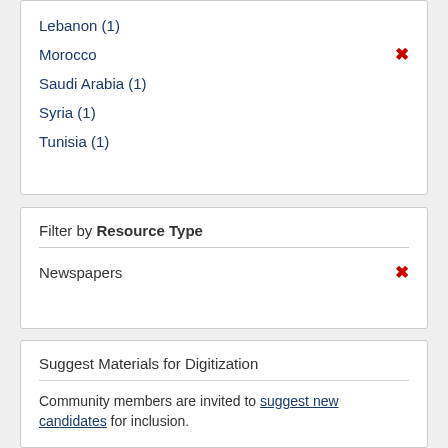Lebanon (1)
Morocco ×
Saudi Arabia (1)
Syria (1)
Tunisia (1)
Filter by Resource Type
Newspapers ×
Suggest Materials for Digitization
Community members are invited to suggest new candidates for inclusion.